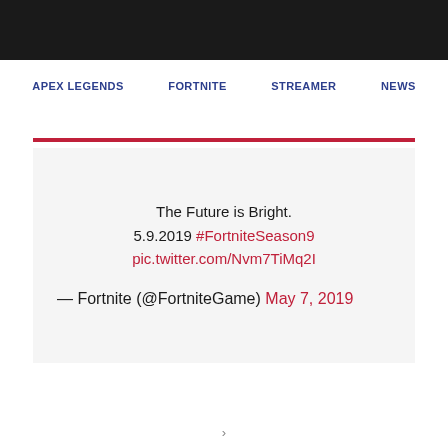APEX LEGENDS   FORTNITE   STREAMER   NEWS
The Future is Bright.
5.9.2019 #FortniteSeason9
pic.twitter.com/Nvm7TiMq2I

— Fortnite (@FortniteGame) May 7, 2019